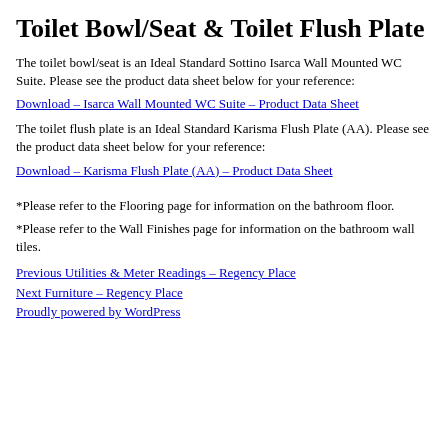Toilet Bowl/Seat & Toilet Flush Plate
The toilet bowl/seat is an Ideal Standard Sottino Isarca Wall Mounted WC Suite. Please see the product data sheet below for your reference:
Download – Isarca Wall Mounted WC Suite – Product Data Sheet
The toilet flush plate is an Ideal Standard Karisma Flush Plate (AA). Please see the product data sheet below for your reference:
Download – Karisma Flush Plate (AA) – Product Data Sheet
*Please refer to the Flooring page for information on the bathroom floor.
*Please refer to the Wall Finishes page for information on the bathroom wall tiles.
Previous Utilities & Meter Readings – Regency Place
Next Furniture – Regency Place
Proudly powered by WordPress